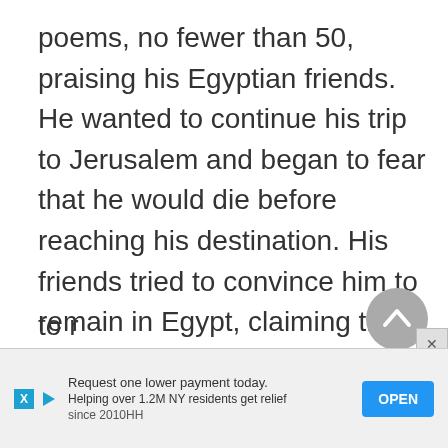poems, no fewer than 50, praising his Egyptian friends. He wanted to continue his trip to Jerusalem and began to fear that he would die before reaching his destination. His friends tried to convince him to remain in Egypt, claiming that Egypt was as important as Erez Israel, since the first prophecy as well as great miracles took place there. He tried the land route from Cairo to Jerusalem, but had to [partially visible] fell[partially visible]
[Figure (other): Circular scroll-to-top button (grey circle with upward chevron)]
Request one lower payment today. Helping over 1.2M NY residents get relief since 2010HH